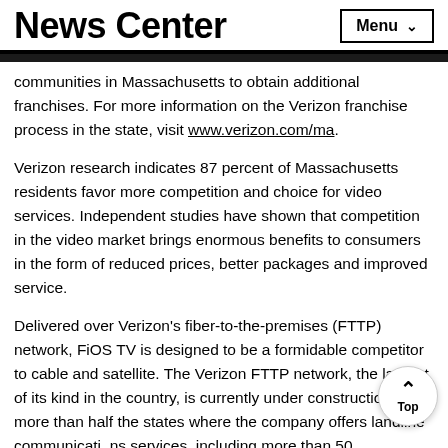News Center
communities in Massachusetts to obtain additional franchises. For more information on the Verizon franchise process in the state, visit www.verizon.com/ma.
Verizon research indicates 87 percent of Massachusetts residents favor more competition and choice for video services. Independent studies have shown that competition in the video market brings enormous benefits to consumers in the form of reduced prices, better packages and improved service.
Delivered over Verizon's fiber-to-the-premises (FTTP) network, FiOS TV is designed to be a formidable competitor to cable and satellite. The Verizon FTTP network, the largest of its kind in the country, is currently under construction in more than half the states where the company offers landline communications services, including more than 50 Massachusetts communities. The network brings the power and capacity of fiber optics...